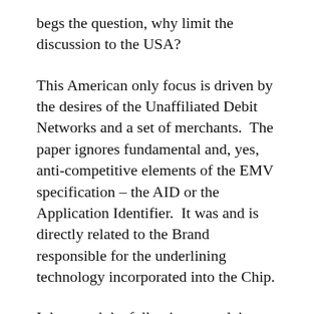begs the question, why limit the discussion to the USA?
This American only focus is driven by the desires of the Unaffiliated Debit Networks and a set of merchants.  The paper ignores fundamental and, yes, anti-competitive elements of the EMV specification – the AID or the Application Identifier.  It was and is directly related to the Brand responsible for the underlining technology incorporated into the Chip.
I then read the following complaint and am driven to ask how the consumer interpreted the prior Debit versus Credit prompts.